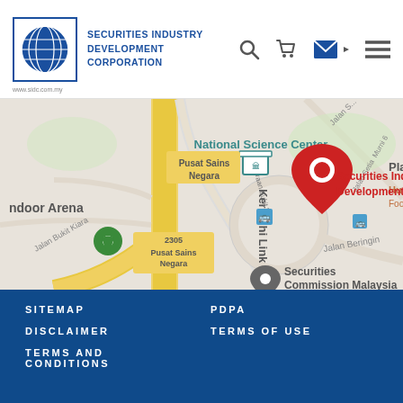SECURITIES INDUSTRY DEVELOPMENT CORPORATION
[Figure (map): Google Maps screenshot showing the location of Securities Industry Development Corporation near National Science Center, Kerinchi Link, and Securities Commission Malaysia in Kuala Lumpur. A red location pin marks the SIDC building. Other landmarks visible include Pusat Sains Negara, green location pin for outdoor arena, and road labels including Jalan Beringin and Persiaraan Bukit Kiara.]
SITEMAP | PDPA | DISCLAIMER | TERMS OF USE | TERMS AND CONDITIONS